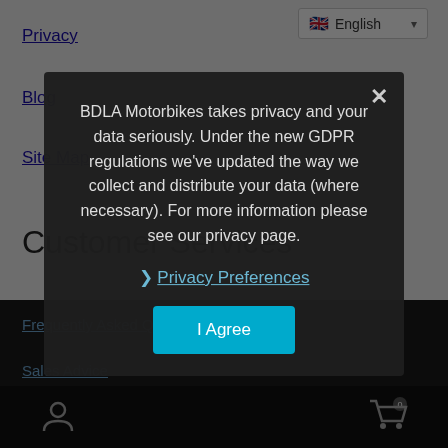Privacy
Blog
Site Map
Customer Services
Frequently Asked Questions
Sales Advice
Contact Us
My Account
BDLA Motorbikes takes privacy and your data seriously. Under the new GDPR regulations we've updated the way we collect and distribute your data (where necessary). For more information please see our privacy page.
Privacy Preferences
I Agree